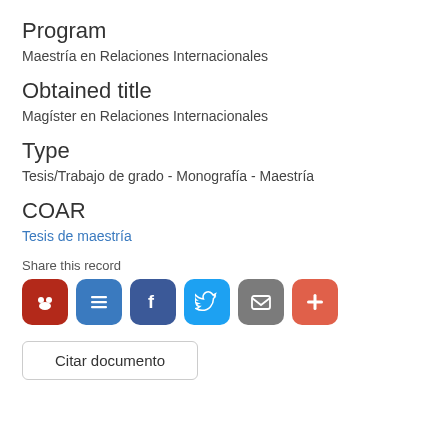Program
Maestría en Relaciones Internacionales
Obtained title
Magíster en Relaciones Internacionales
Type
Tesis/Trabajo de grado - Monografía - Maestría
COAR
Tesis de maestría
Share this record
[Figure (other): Six social sharing icon buttons: Mendeley (red), list/menu (blue), Facebook (dark blue), Twitter (light blue), Email (gray), Plus/more (orange-red)]
Citar documento